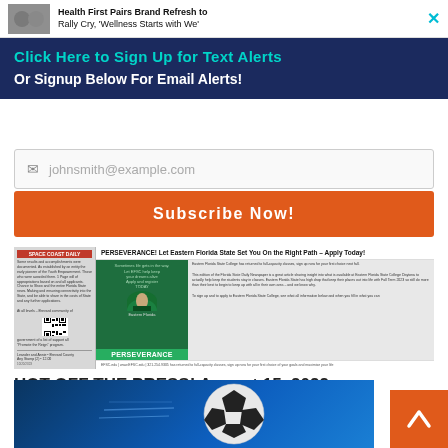[Figure (screenshot): Advertisement banner: Health First Pairs Brand Refresh to Rally Cry, 'Wellness Starts with We' with close button]
Click Here to Sign Up for Text Alerts
Or Signup Below For Email Alerts!
johnsmith@example.com
Subscribe Now!
[Figure (screenshot): Newspaper front page image showing PERSEVERANCE advertisement for Eastern Florida State College]
HOT OFF THE PRESS! August 15, 2022 Space Coast Daily News – Brevard County's Best Newspaper
[Figure (photo): Soccer ball on blue background]